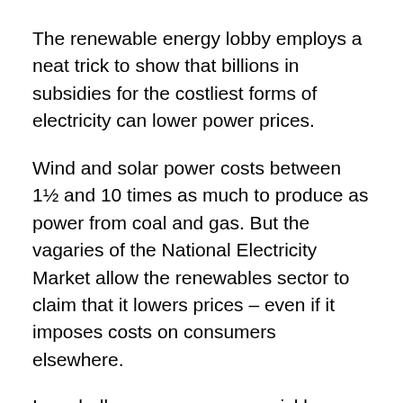The renewable energy lobby employs a neat trick to show that billions in subsidies for the costliest forms of electricity can lower power prices.
Wind and solar power costs between 1½ and 10 times as much to produce as power from coal and gas. But the vagaries of the National Electricity Market allow the renewables sector to claim that it lowers prices – even if it imposes costs on consumers elsewhere.
In a shell game, a conman quickly moves around three shells on a table or mat and his buddies pressure passers-by to bet which one contains a pea.
The pea under the shell is $37 billion of renewable energy certificates (RECs) that electricity retailers will buy from renewable energy generators over the coming decade.